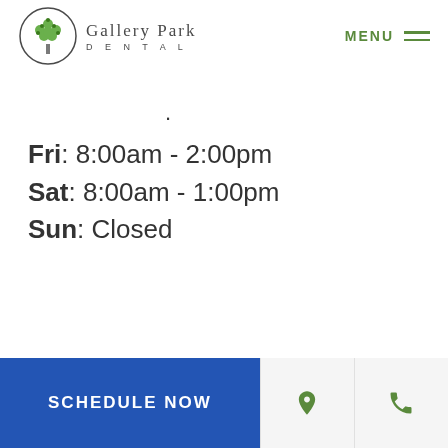Gallery Park Dental | MENU
Fri: 8:00am - 2:00pm
Sat: 8:00am - 1:00pm
Sun: Closed
SCHEDULE NOW | location icon | phone icon